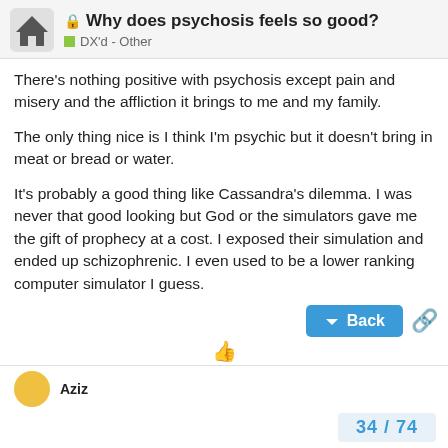Why does psychosis feels so good? DX'd - Other
There's nothing positive with psychosis except pain and misery and the affliction it brings to me and my family.
The only thing nice is I think I'm psychic but it doesn't bring in meat or bread or water.
It's probably a good thing like Cassandra's dilemma. I was never that good looking but God or the simulators gave me the gift of prophecy at a cost. I exposed their simulation and ended up schizophrenic. I even used to be a lower ranking computer simulator I guess.
They used to grant me wishes like a genie lol. I got 1 wish or so. Being smart. They compared me to Einstein, but I'll probably end up poor and useless and a nobody like Nicola Tesla…
34 / 74